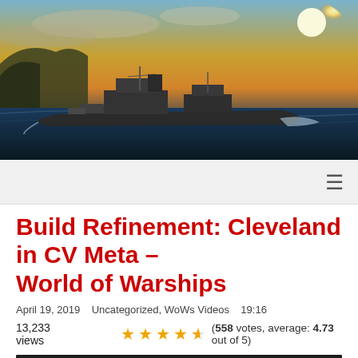[Figure (illustration): Hero image of a warship (Cleveland-class cruiser) sailing at sea during sunset with orange sky and cliffs in background]
[Figure (screenshot): Navigation bar with hamburger menu icon on light gray background]
Build Refinement: Cleveland in CV Meta – World of Warships
April 19, 2019   Uncategorized, WoWs Videos   19:16
13,233 views   ★★★★½ (558 votes, average: 4.73 out of 5)
[Figure (screenshot): YouTube video thumbnail showing 'Build Refinement: Cleveland in CV M...' with channel icon and CLEVELAND text overlay]